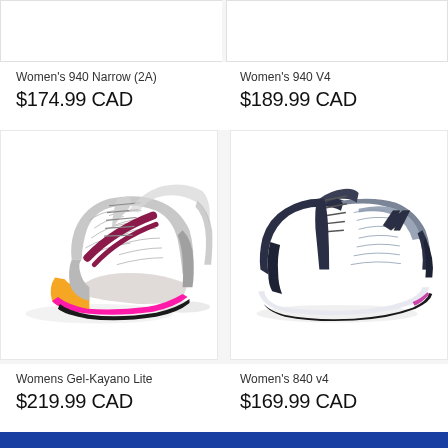[Figure (photo): Top portion of two shoe product cards (images cropped)]
Women's 940 Narrow (2A)
$174.99 CAD
Women's 940 V4
$189.99 CAD
[Figure (photo): Womens Gel-Kayano Lite running shoe - grey/white/pink colorway, ASICS brand, shown as pair from side angle]
[Figure (photo): Women's 840 v4 running shoe - dark navy/grey colorway, New Balance brand, shown from side angle]
Womens Gel-Kayano Lite
$219.99 CAD
Women's 840 v4
$169.99 CAD